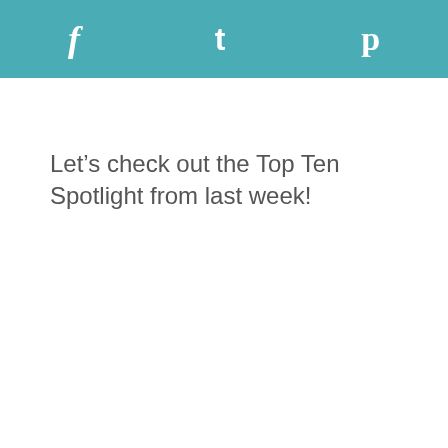f  t  p
Let’s check out the Top Ten Spotlight from last week!